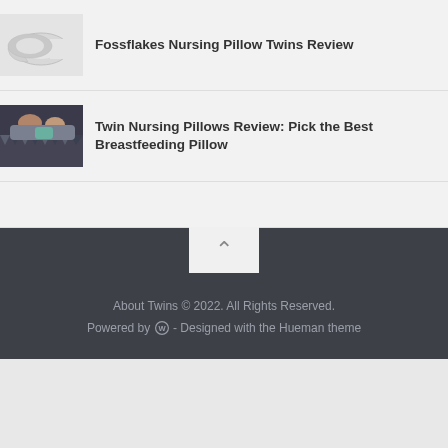[Figure (photo): White curved nursing pillow on light gray background]
Fossflakes Nursing Pillow Twins Review
[Figure (photo): Person nursing two babies on a patterned nursing pillow]
Twin Nursing Pillows Review: Pick the Best Breastfeeding Pillow
About Twins © 2022. All Rights Reserved. Powered by WordPress - Designed with the Hueman theme